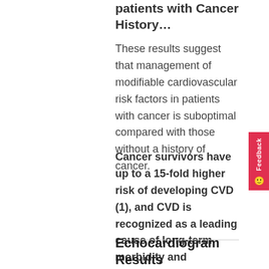patients with Cancer History…
These results suggest that management of modifiable cardiovascular risk factors in patients with cancer is suboptimal compared with those without a history of cancer.
Cancer survivors have up to a 15-fold higher risk of developing CVD (1), and CVD is recognized as a leading cause of long-term morbidity and mortality…
Echocardiogram Results